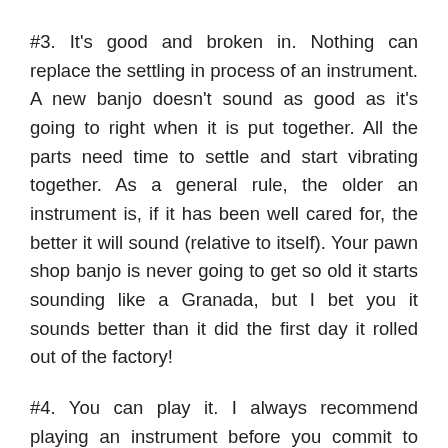#3. It's good and broken in. Nothing can replace the settling in process of an instrument. A new banjo doesn't sound as good as it's going to right when it is put together. All the parts need time to settle and start vibrating together. As a general rule, the older an instrument is, if it has been well cared for, the better it will sound (relative to itself). Your pawn shop banjo is never going to get so old it starts sounding like a Granada, but I bet you it sounds better than it did the first day it rolled out of the factory!
#4. You can play it. I always recommend playing an instrument before you commit to buying it. Even if you don't play very well yet, you can tell a lot by